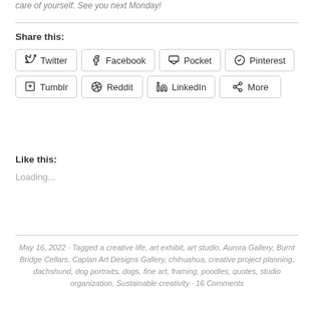care of yourself. See you next Monday!
Share this:
Twitter
Facebook
Pocket
Pinterest
Tumblr
Reddit
LinkedIn
More
Like this:
Loading...
May 16, 2022 · Tagged a creative life, art exhibit, art studio, Aurora Gallery, Burnt Bridge Cellars, Caplan Art Designs Gallery, chihuahua, creative project planning, dachshund, dog portraits, dogs, fine art, framing, poodles, quotes, studio organization, Sustainable creativity · 16 Comments